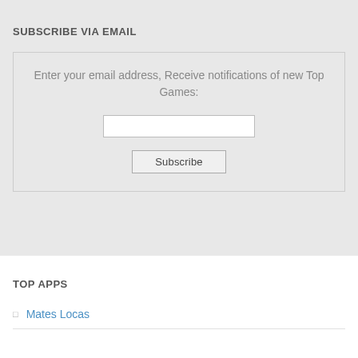SUBSCRIBE VIA EMAIL
Enter your email address, Receive notifications of new Top Games:
TOP APPS
Mates Locas